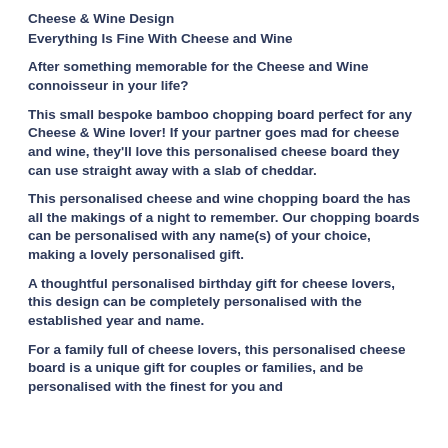Cheese & Wine Design
Everything Is Fine With Cheese and Wine
After something memorable for the Cheese and Wine connoisseur in your life?
This small bespoke bamboo chopping board perfect for any Cheese & Wine lover! If your partner goes mad for cheese and wine, they'll love this personalised cheese board they can use straight away with a slab of cheddar.
This personalised cheese and wine chopping board the has all the makings of a night to remember. Our chopping boards can be personalised with any name(s) of your choice, making a lovely personalised gift.
A thoughtful personalised birthday gift for cheese lovers, this design can be completely personalised with the established year and name.
For a family full of cheese lovers, this personalised cheese board is a unique gift for couples or families, and be personalised with the finest for you and